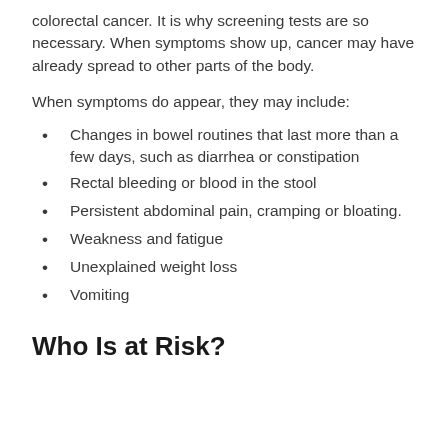colorectal cancer. It is why screening tests are so necessary. When symptoms show up, cancer may have already spread to other parts of the body.
When symptoms do appear, they may include:
Changes in bowel routines that last more than a few days, such as diarrhea or constipation
Rectal bleeding or blood in the stool
Persistent abdominal pain, cramping or bloating.
Weakness and fatigue
Unexplained weight loss
Vomiting
Who Is at Risk?